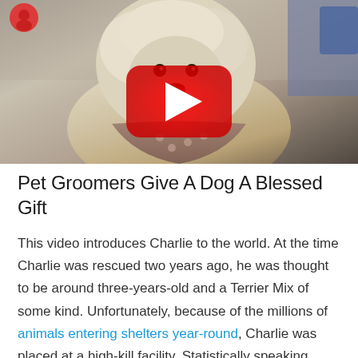[Figure (screenshot): Video thumbnail showing a fluffy light-colored dog wearing a brown bandana with paw prints, with a YouTube play button overlay in the center. A small circular profile icon is visible in the top-left corner.]
Pet Groomers Give A Dog A Blessed Gift
This video introduces Charlie to the world. At the time Charlie was rescued two years ago, he was thought to be around three-years-old and a Terrier Mix of some kind. Unfortunately, because of the millions of animals entering shelters year-round, Charlie was placed at a high-kill facility. Statistically speaking, most animals don't last a